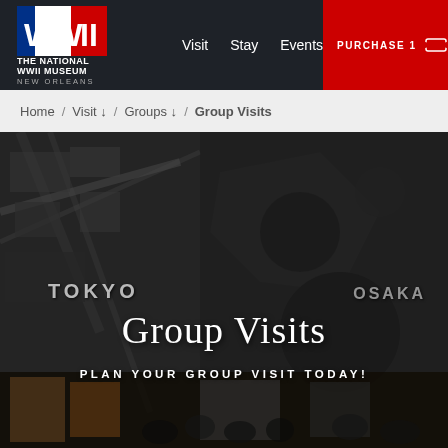THE NATIONAL WWII MUSEUM NEW ORLEANS — Navigation: Visit, Stay, Events, MORE — PURCHASE TICKETS — Search
Home / Visit ↓ / Groups ↓ / Group Visits
[Figure (photo): Hero image showing museum exhibit with large aerial map displays of Tokyo and Osaka. Visitors visible in foreground at bottom. Dark overlay with 'Group Visits' title and 'PLAN YOUR GROUP VISIT TODAY!' subtitle.]
Group Visits
PLAN YOUR GROUP VISIT TODAY!